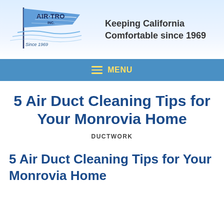[Figure (logo): Air-Tro Inc. logo with flag graphic and 'Since 1969' text, alongside tagline 'Keeping California Comfortable since 1969']
≡ MENU
5 Air Duct Cleaning Tips for Your Monrovia Home
DUCTWORK
5 Air Duct Cleaning Tips for Your Monrovia Home